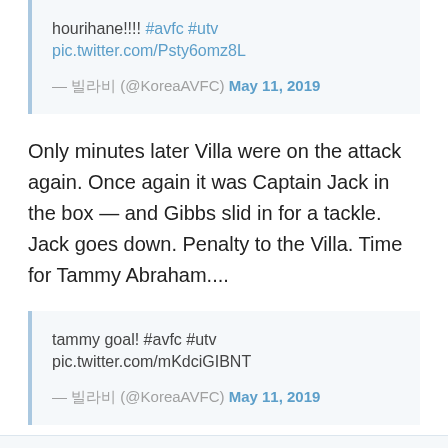hourihane!!!! #avfc #utv pic.twitter.com/Psty6omz8L

— 빌라비 (@KoreaAVFC) May 11, 2019
Only minutes later Villa were on the attack again. Once again it was Captain Jack in the box — and Gibbs slid in for a tackle. Jack goes down. Penalty to the Villa. Time for Tammy Abraham....
tammy goal! #avfc #utv pic.twitter.com/mKdciGIBNT

— 빌라비 (@KoreaAVFC) May 11, 2019